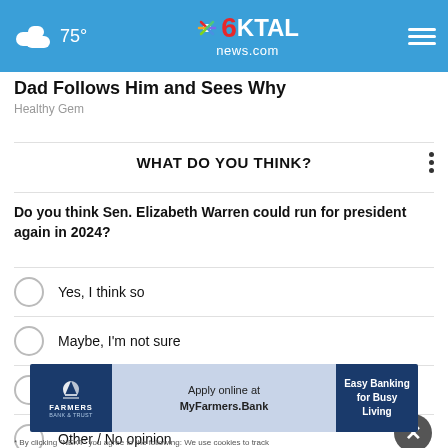75° KTAL news.com
Dad Follows Him and Sees Why
Healthy Gem
WHAT DO YOU THINK?
Do you think Sen. Elizabeth Warren could run for president again in 2024?
Yes, I think so
Maybe, I'm not sure
No, I don't think so
Other / No opinion
[Figure (other): Farmers Bank & Trust advertisement: Apply online at MyFarmers.Bank – Easy Banking for Busy Living]
* By clicking "NEXT" you agree to the following: We use cookies to track